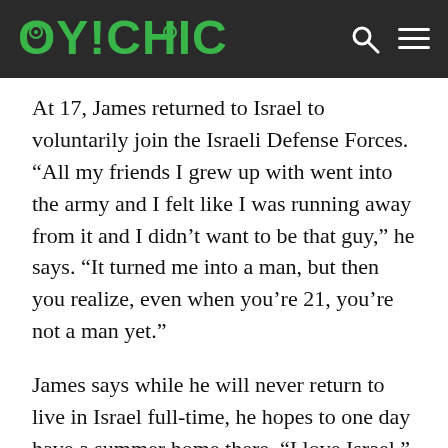OY!CHICAGO
At 17, James returned to Israel to voluntarily join the Israeli Defense Forces. “All my friends I grew up with went into the army and I felt like I was running away from it and I didn’t want to be that guy,” he says. “It turned me into a man, but then you realize, even when you’re 21, you’re not a man yet.”
James says while he will never return to live in Israel full-time, he hopes to one day have a summer home there. “I love Israel,” he says. “I do hope that we’ll compromise one day and be able to live in peace because my whole life I’ve lived pretty much not in peace and I’ve watched how hard it is—I’ve watched friends die. I’ve watched soldiers die in my hands. One